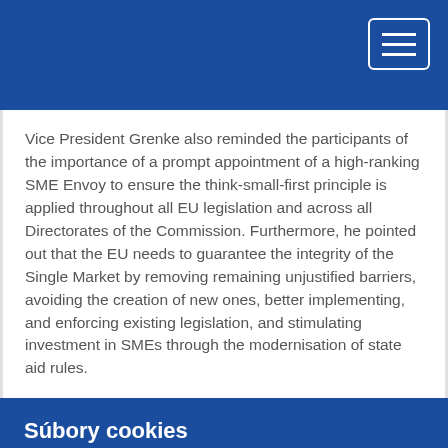Vice President Grenke also reminded the participants of the importance of a prompt appointment of a high-ranking SME Envoy to ensure the think-small-first principle is applied throughout all EU legislation and across all Directorates of the Commission. Furthermore, he pointed out that the EU needs to guarantee the integrity of the Single Market by removing remaining unjustified barriers, avoiding the creation of new ones, better implementing, and enforcing existing legislation, and stimulating investment in SMEs through the modernisation of state aid rules.
Súbory cookies
Táto lokalita používa súbory cookies na zlepšenie funkcií prehliadania. Prečítajte si informácie o tom, ako používame cookies a ako môžete zmeniť tieto nastavenia.